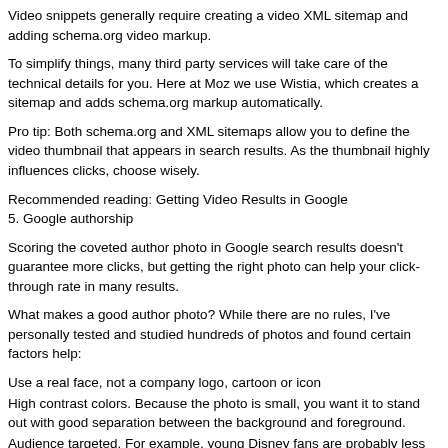Video snippets generally require creating a video XML sitemap and adding schema.org video markup.
To simplify things, many third party services will take care of the technical details for you. Here at Moz we use Wistia, which creates a sitemap and adds schema.org markup automatically.
Pro tip: Both schema.org and XML sitemaps allow you to define the video thumbnail that appears in search results. As the thumbnail highly influences clicks, choose wisely.
Recommended reading: Getting Video Results in Google
5. Google authorship
Scoring the coveted author photo in Google search results doesn't guarantee more clicks, but getting the right photo can help your click-through rate in many results.
What makes a good author photo? While there are no rules, I've personally tested and studied hundreds of photos and found certain factors help:
Use a real face, not a company logo, cartoon or icon
High contrast colors. Because the photo is small, you want it to stand out with good separation between the background and foreground.
Audience targeted. For example, young Disney fans are probably less likely to click on an old guy in a suit who looks like a financial adviser.
Google recently got more selective about the author photos it chooses to show, but if you implement authorship correctly you may find yourself in the 20% (according to MozCast) of all search results that include author photos